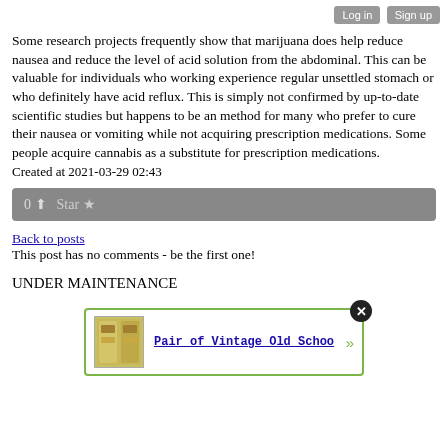Log in  Sign up
Some research projects frequently show that marijuana does help reduce nausea and reduce the level of acid solution from the abdominal. This can be valuable for individuals who working experience regular unsettled stomach or who definitely have acid reflux. This is simply not confirmed by up-to-date scientific studies but happens to be an method for many who prefer to cure their nausea or vomiting while not acquiring prescription medications. Some people acquire cannabis as a substitute for prescription medications.
Created at 2021-03-29 02:43
0 ↑  Star ★
Back to posts
This post has no comments - be the first one!
UNDER MAINTENANCE
[Figure (other): Advertisement box with green border showing 'Pair of Vintage Old Schoo' with a product image and close button]